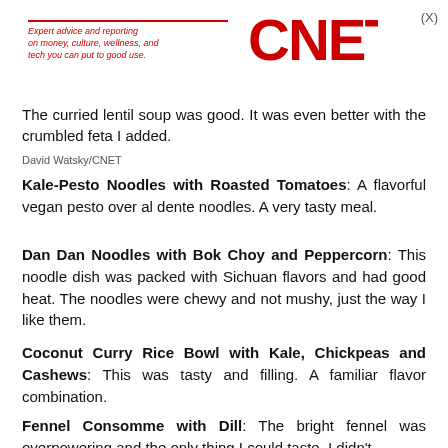Expert advice and reporting on money, culture, wellness, and tech you can put to good use. CNET
The curried lentil soup was good. It was even better with the crumbled feta I added.
David Watsky/CNET
Kale-Pesto Noodles with Roasted Tomatoes: A flavorful vegan pesto over al dente noodles. A very tasty meal.
Dan Dan Noodles with Bok Choy and Peppercorn: This noodle dish was packed with Sichuan flavors and had good heat. The noodles were chewy and not mushy, just the way I like them.
Coconut Curry Rice Bowl with Kale, Chickpeas and Cashews: This was tasty and filling. A familiar flavor combination.
Fennel Consomme with Dill: The bright fennel was overpowering and the only thing I could taste. I didn't